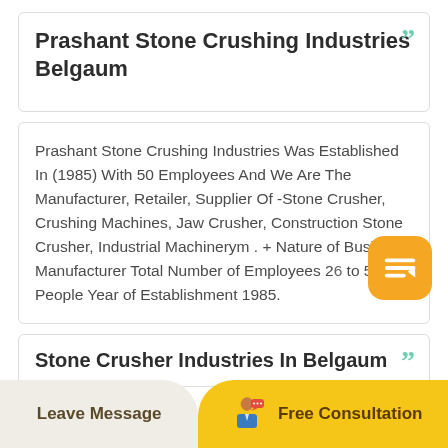Prashant Stone Crushing Industries Belgaum
Prashant Stone Crushing Industries Was Established In (1985) With 50 Employees And We Are The Manufacturer, Retailer, Supplier Of -Stone Crusher, Crushing Machines, Jaw Crusher, Construction Stone Crusher, Industrial Machinerym . + Nature of Business Manufacturer Total Number of Employees 26 to 50 People Year of Establishment 1985.
Stone Crusher Industries In Belgaum